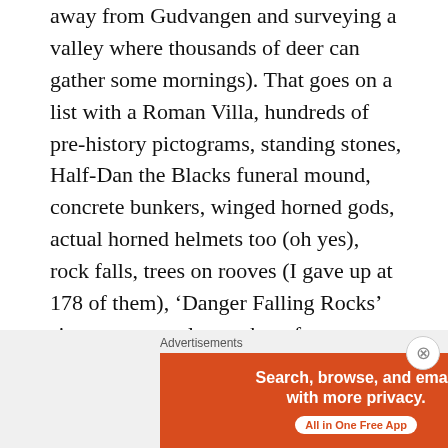away from Gudvangen and surveying a valley where thousands of deer can gather some mornings). That goes on a list with a Roman Villa, hundreds of pre-history pictograms, standing stones, Half-Dan the Blacks funeral mound, concrete bunkers, winged horned gods, actual horned helmets too (oh yes), rock falls, trees on rooves (I gave up at 178 of them), ‘Danger Falling Rocks’ signs – extremely rare here for some unknown reason which I will probably blog about at some point, large fish rings, organic vegetable gardens (sadly a rare occurrence apparently), drummer boys, huskies pulling a white van and sounding like geese, iced coffee to die for, Godt og Blandett Frukt Salad (a must have), salty
Advertisements
[Figure (other): DuckDuckGo advertisement banner. Orange left panel with text 'Search, browse, and email with more privacy. All in One Free App'. Dark right panel with DuckDuckGo logo (orange circle with duck icon).]